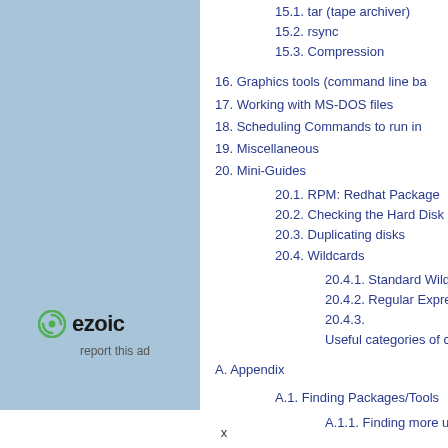[Figure (other): Ezoic advertisement panel with light blue background, ezoic logo and 'report this ad' text]
15.1. tar (tape archiver)
15.2. rsync
15.3. Compression
16. Graphics tools (command line ba...
17. Working with MS-DOS files
18. Scheduling Commands to run in...
19. Miscellaneous
20. Mini-Guides
20.1. RPM: Redhat Package...
20.2. Checking the Hard Disk...
20.3. Duplicating disks
20.4. Wildcards
20.4.1. Standard Wild...
20.4.2. Regular Expre...
20.4.3.
Useful categories of ch...
A. Appendix
A.1. Finding Packages/Tools
A.1.1. Finding more u...
x